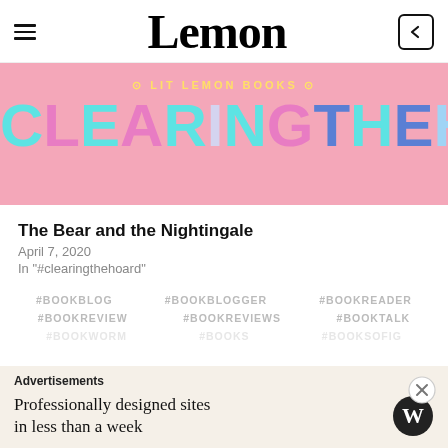Lemon
[Figure (illustration): Pink banner image with colorful text reading 'Lit Lemon Books' and 'CLEARING THE HOA' in teal, pink, and blue large block letters on a pink background]
The Bear and the Nightingale
April 7, 2020
In "#clearingthehoard"
#BOOKBLOG   #BOOKBLOGGER   #BOOKREADER
#BOOKREVIEW   #BOOKREVIEWS   #BOOKTALK
Advertisements
Professionally designed sites in less than a week